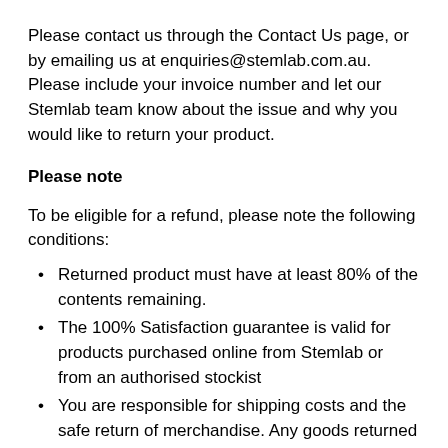Please contact us through the Contact Us page, or by emailing us at enquiries@stemlab.com.au. Please include your invoice number and let our Stemlab team know about the issue and why you would like to return your product.
Please note
To be eligible for a refund, please note the following conditions:
Returned product must have at least 80% of the contents remaining.
The 100% Satisfaction guarantee is valid for products purchased online from Stemlab or from an authorised stockist
You are responsible for shipping costs and the safe return of merchandise. Any goods returned to us will be at your expense regardless of the fault or reason for their return. The only exception offered is where we have sent you an incorrect or faulty